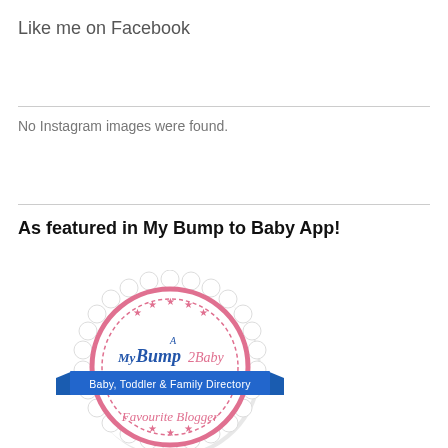Like me on Facebook
No Instagram images were found.
As featured in My Bump to Baby App!
[Figure (logo): MyBump2Baby badge logo - circular badge with pink border, star decorations, blue ribbon banner reading 'Baby, Toddler & Family Directory', and text 'Favourite Blogger']